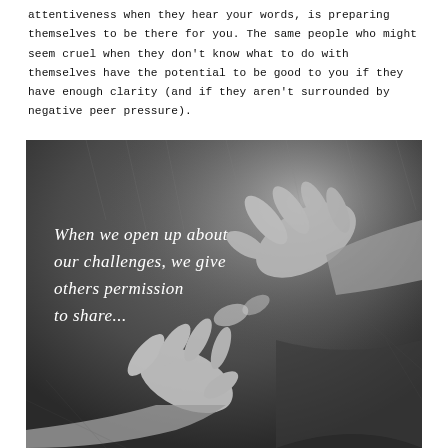attentiveness when they hear your words, is preparing themselves to be there for you. The same people who might seem cruel when they don't know what to do with themselves have the potential to be good to you if they have enough clarity (and if they aren't surrounded by negative peer pressure).
[Figure (illustration): A pencil sketch illustration of hands reaching toward each other, drawn in grayscale charcoal/pencil style with overlaid white italic text reading: 'When we open up about our challenges, we give others permission to share...']